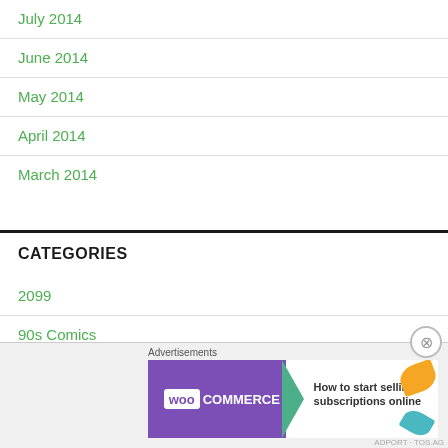July 2014
June 2014
May 2014
April 2014
March 2014
CATEGORIES
2099
90s Comics
[Figure (screenshot): WooCommerce advertisement banner: 'How to start selling subscriptions online']